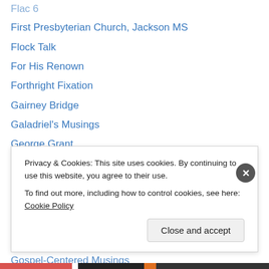First Presbyterian Church, Jackson MS
Flock Talk
For His Renown
Forthright Fixation
Gairney Bridge
Galadriel's Musings
George Grant
GlosBaptist
Gomarus
Goodness, Truth, and Beauty
Gospel Driven
Gospel or Death
Gospel-Centered Musings
Privacy & Cookies: This site uses cookies. By continuing to use this website, you agree to their use. To find out more, including how to control cookies, see here: Cookie Policy
Close and accept